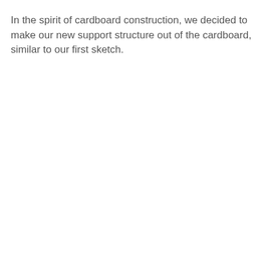In the spirit of cardboard construction, we decided to make our new support structure out of the cardboard, similar to our first sketch.